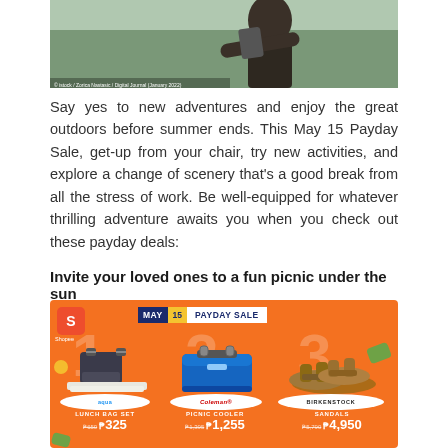[Figure (photo): Person outdoors holding a phone, wearing dark clothing, outdoor background with green and sky tones]
Say yes to new adventures and enjoy the great outdoors before summer ends. This May 15 Payday Sale, get-up from your chair, try new activities, and explore a change of scenery that's a good break from all the stress of work. Be well-equipped for whatever thrilling adventure awaits you when you check out these payday deals:
Invite your loved ones to a fun picnic under the sun
[Figure (infographic): Shopee May 15 Payday Sale banner on orange background showing 3 products: 1) Lunch Bag Set - was ₱650, now ₱325 (Aqua brand); 2) Picnic Cooler - was ₱1,395, now ₱1,255 (Coleman brand); 3) Sandals - was ₱5,790, now ₱4,950 (Birkenstock brand)]